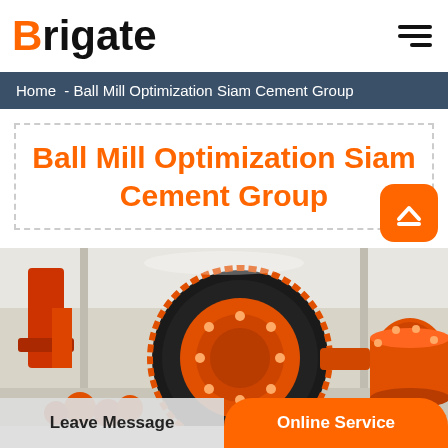Brigate
Home - Ball Mill Optimization Siam Cement Group
Ball Mill Optimization Siam Cement Group
[Figure (photo): Industrial ball mill machinery with large orange gear/drum assembly in a manufacturing facility]
Leave Message | Online Service